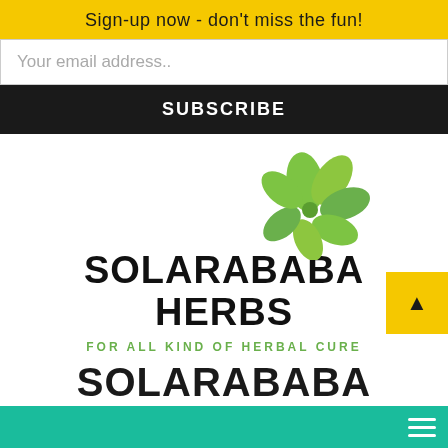Sign-up now - don't miss the fun!
Your email address..
SUBSCRIBE
[Figure (logo): Solarababa Herbs logo with green leaf graphic and bold brand name text]
FOR ALL KIND OF HERBAL CURE
SOLARABABA HERBS
AFRICA'S NO 1 HERBAL MEDICINE SHOP
Order for anything Here